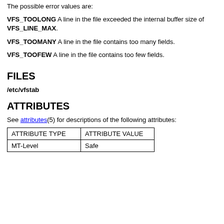The possible error values are:
VFS_TOOLONG A line in the file exceeded the internal buffer size of VFS_LINE_MAX.
VFS_TOOMANY A line in the file contains too many fields.
VFS_TOOFEW A line in the file contains too few fields.
FILES
/etc/vfstab
ATTRIBUTES
See attributes(5) for descriptions of the following attributes:
| ATTRIBUTE TYPE | ATTRIBUTE VALUE |
| --- | --- |
| MT-Level | Safe |